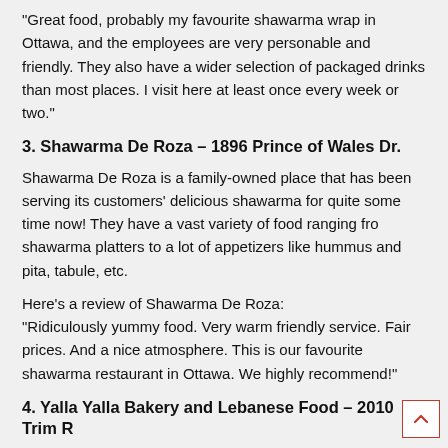"Great food, probably my favourite shawarma wrap in Ottawa, and the employees are very personable and friendly. They also have a wider selection of packaged drinks than most places. I visit here at least once every week or two."
3. Shawarma De Roza – 1896 Prince of Wales Dr.
Shawarma De Roza is a family-owned place that has been serving its customers' delicious shawarma for quite some time now! They have a vast variety of food ranging fro shawarma platters to a lot of appetizers like hummus and pita, tabule, etc.
Here's a review of Shawarma De Roza:
"Ridiculously yummy food. Very warm friendly service. Fair prices. And a nice atmosphere. This is our favourite shawarma restaurant in Ottawa. We highly recommend!"
4. Yalla Yalla Bakery and Lebanese Food – 2010 Trim R...
Yalla Yalla bakery's shawarma sandwich platters are to die for!